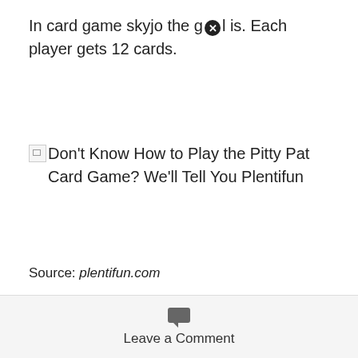In card game skyjo the gⒻl is. Each player gets 12 cards.
[Figure (illustration): Broken image placeholder with title: Don't Know How to Play the Pitty Pat Card Game? We'll Tell You Plentifun]
Source: plentifun.com
The ideal game for fun, entertaining and exciting hours of play with friends and family. In the card game skyjo the goal is to collect as few points as possible over the course of several turns as after every round every player’s points are counted and
Leave a Comment